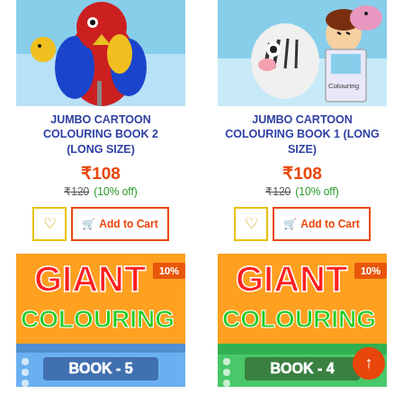[Figure (photo): Jumbo Cartoon Colouring Book 2 cover showing colorful parrot and bird characters on blue sky background]
JUMBO CARTOON COLOURING BOOK 2 (Long Size)
₹108
₹120  (10% off)
[Figure (photo): Jumbo Cartoon Colouring Book 1 cover showing zebra and child characters on blue background]
JUMBO CARTOON COLOURING BOOK 1 (Long Size)
₹108
₹120  (10% off)
[Figure (photo): Giant Colouring Book 5 cover with colorful title text on orange background, 10% badge]
[Figure (photo): Giant Colouring Book 4 cover with colorful title text on orange background, 10% badge]